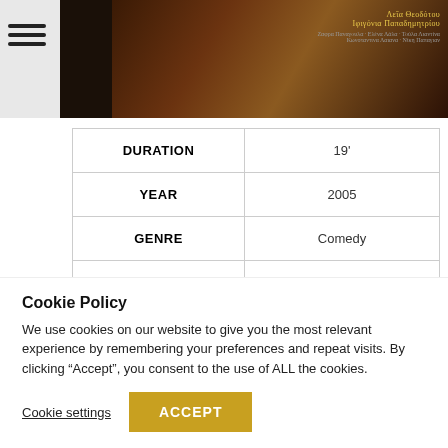[Figure (photo): Film poster or still image with dark warm tones, showing text overlay with actor/production names in gold and grey text on a dark background. Hamburger menu icon visible on left.]
| DURATION | 19' |
| YEAR | 2005 |
| GENRE | Comedy |
| WRITER & DIRECTOR | Dimitris Giamloglou |
Cookie Policy
We use cookies on our website to give you the most relevant experience by remembering your preferences and repeat visits. By clicking “Accept”, you consent to the use of ALL the cookies.
Cookie settings | ACCEPT